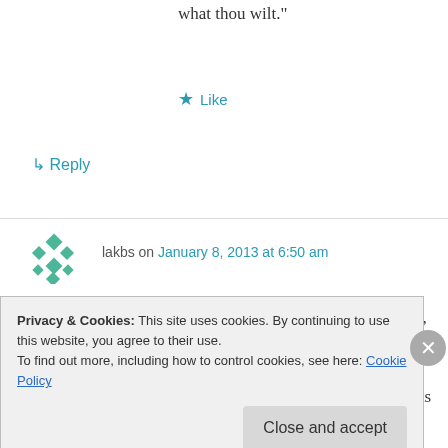what thou wilt."
★ Like
↪ Reply
lakbs on January 8, 2013 at 6:50 am
if the main idea of this idea is do what you will, you already botched something pretty beautiful in principle by giving it a name. now people will argue over it's meaning. most of this sounds like
Privacy & Cookies: This site uses cookies. By continuing to use this website, you agree to their use.
To find out more, including how to control cookies, see here: Cookie Policy
Close and accept